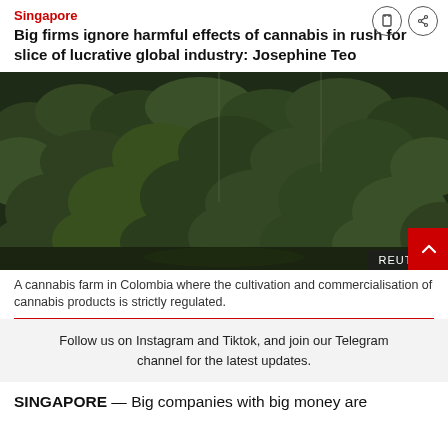Singapore
Big firms ignore harmful effects of cannabis in rush for slice of lucrative global industry: Josephine Teo
[Figure (photo): Aerial view of a dense cannabis farm in Colombia with lush green plants covering the entire field. REUTERS credit badge in bottom right corner.]
A cannabis farm in Colombia where the cultivation and commercialisation of cannabis products is strictly regulated.
Follow us on Instagram and Tiktok, and join our Telegram channel for the latest updates.
SINGAPORE — Big companies with big money are